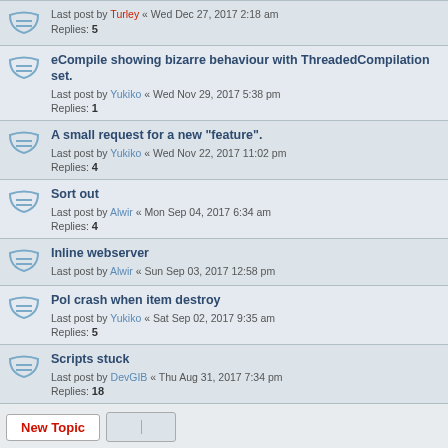Last post by Turley « Wed Dec 27, 2017 2:18 am
Replies: 5
eCompile showing bizarre behaviour with ThreadedCompilation set.
Last post by Yukiko « Wed Nov 29, 2017 5:38 pm
Replies: 1
A small request for a new "feature".
Last post by Yukiko « Wed Nov 22, 2017 11:02 pm
Replies: 4
Sort out
Last post by Alwir « Mon Sep 04, 2017 6:34 am
Replies: 4
Inline webserver
Last post by Alwir « Sun Sep 03, 2017 12:58 pm
Pol crash when item destroy
Last post by Yukiko « Sat Sep 02, 2017 9:35 am
Replies: 5
Scripts stuck
Last post by DevGIB « Thu Aug 31, 2017 7:34 pm
Replies: 18
New Topic  |  138 topics  1  2  3  »  Jump to